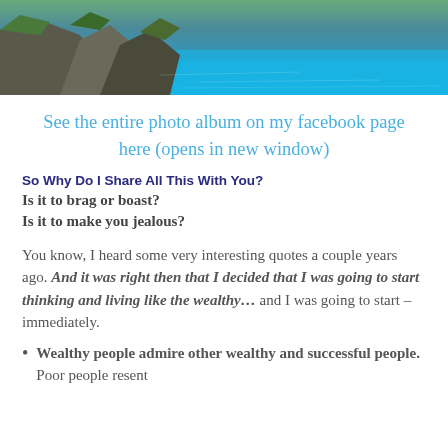[Figure (photo): Aerial or elevated photo of rocky coastline with blue-green water]
See the entire photo album on my facebook page here (opens in new window)
So Why Do I Share All This With You?
Is it to brag or boast?
Is it to make you jealous?
You know, I heard some very interesting quotes a couple years ago. And it was right then that I decided that I was going to start thinking and living like the wealthy… and I was going to start – immediately.
Wealthy people admire other wealthy and successful people. Poor people resent